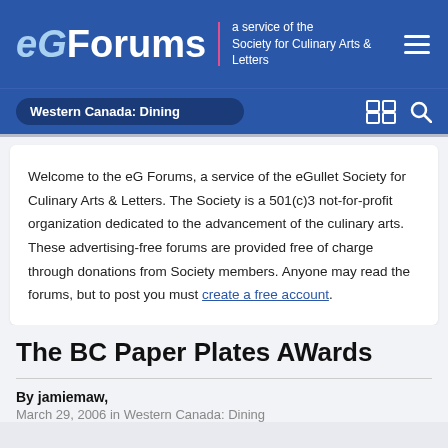eGForums — a service of the Society for Culinary Arts & Letters
Western Canada: Dining
Welcome to the eG Forums, a service of the eGullet Society for Culinary Arts & Letters. The Society is a 501(c)3 not-for-profit organization dedicated to the advancement of the culinary arts. These advertising-free forums are provided free of charge through donations from Society members. Anyone may read the forums, but to post you must create a free account.
The BC Paper Plates AWards
By jamiemaw,
March 29, 2006 in Western Canada: Dining